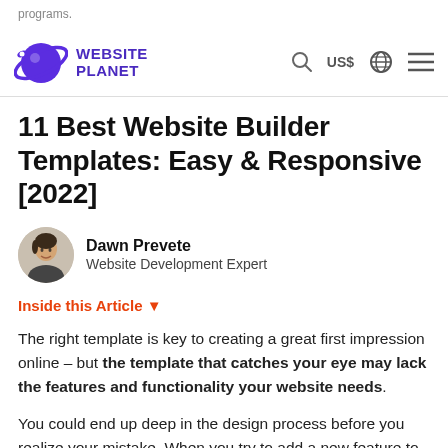programs.
[Figure (logo): Website Planet logo with purple planet icon and text WEBSITE PLANET]
11 Best Website Builder Templates: Easy & Responsive [2022]
Dawn Prevete
Website Development Expert
Inside this Article ▼
The right template is key to creating a great first impression online – but the template that catches your eye may lack the features and functionality your website needs.
You could end up deep in the design process before you realize your mistake. When you try to add a new feature to compensate, it might be difficult for you to design it to fit the template.